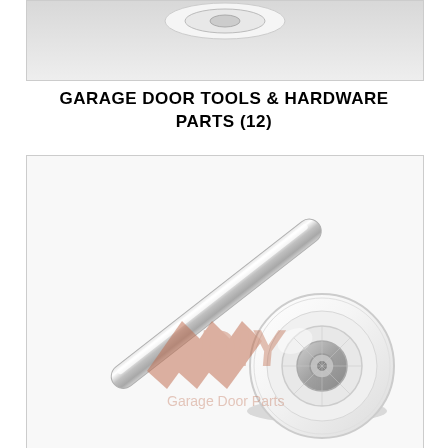[Figure (photo): Partial photo of a garage door roller or hardware part, cropped at top of page]
GARAGE DOOR TOOLS & HARDWARE PARTS (12)
[Figure (photo): Photo of a garage door roller with a chrome steel stem and white nylon wheel/roller, with DIY Garage Door Parts watermark overlay]